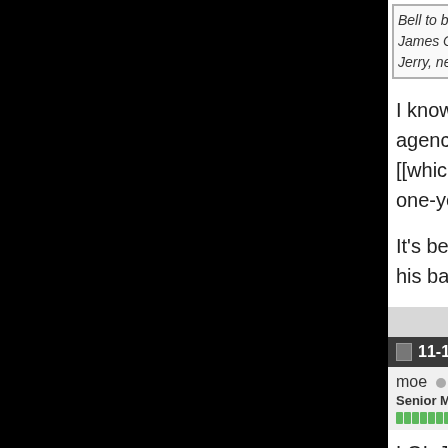Bell to be a no show Tuesday but is all... James Conner is out of concussion proto... Jerry, never would've thought.......the Br...
I know, right. You may not agree with me... agency with no tread worn on his tires.... [[which I pray doesn't happen because... one-year $20+ million franchise offer in...
It's better that they all go their separate... his back pocket. Call it a win-win for th...
11-12-2018, 07:56 PM
moe
Senior Member
LOL Jerry! He may have no tread worn... while....as well as [[is it Earl Thomas?]... How bout the Saints signing Brandon M... Ms M.....I had to watch your game from...